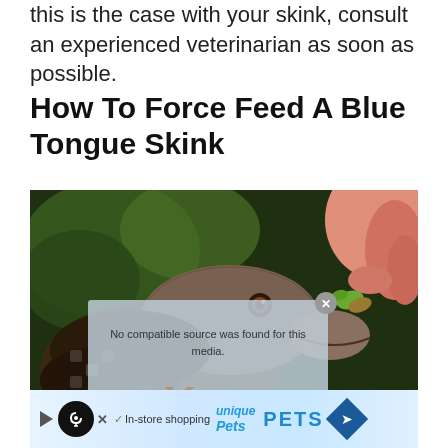this is the case with your skink, consult an experienced veterinarian as soon as possible.
How To Force Feed A Blue Tongue Skink
[Figure (photo): Close-up photo of a blue tongue skink being hand-fed by a person holding a small piece of green food. The skink's head is visible in detail with its eye and scales. There is a video player overlay showing 'No compatible source was found for this media.' with a close button and an X symbol.]